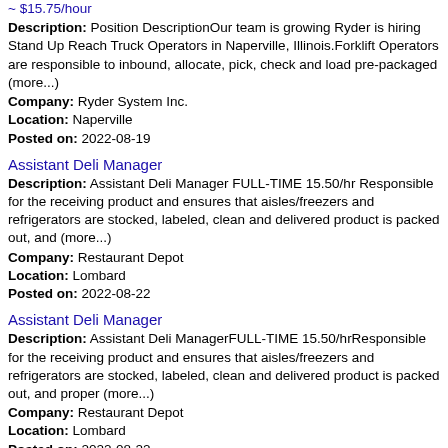~ $15.75/hour
Description: Position DescriptionOur team is growing Ryder is hiring Stand Up Reach Truck Operators in Naperville, Illinois.Forklift Operators are responsible to inbound, allocate, pick, check and load pre-packaged (more...)
Company: Ryder System Inc.
Location: Naperville
Posted on: 2022-08-19
Assistant Deli Manager
Description: Assistant Deli Manager FULL-TIME 15.50/hr Responsible for the receiving product and ensures that aisles/freezers and refrigerators are stocked, labeled, clean and delivered product is packed out, and (more...)
Company: Restaurant Depot
Location: Lombard
Posted on: 2022-08-22
Assistant Deli Manager
Description: Assistant Deli ManagerFULL-TIME 15.50/hrResponsible for the receiving product and ensures that aisles/freezers and refrigerators are stocked, labeled, clean and delivered product is packed out, and proper (more...)
Company: Restaurant Depot
Location: Lombard
Posted on: 2022-08-22
Inventory Controller